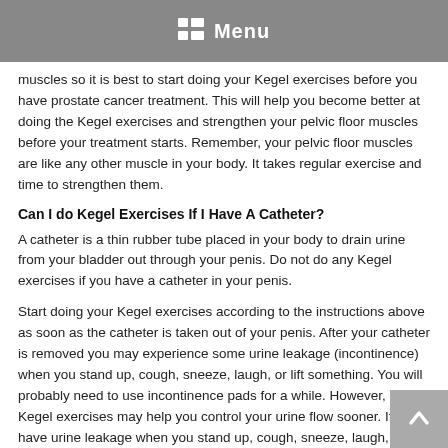Menu
muscles so it is best to start doing your Kegel exercises before you have prostate cancer treatment. This will help you become better at doing the Kegel exercises and strengthen your pelvic floor muscles before your treatment starts. Remember, your pelvic floor muscles are like any other muscle in your body. It takes regular exercise and time to strengthen them.
Can I do Kegel Exercises If I Have A Catheter?
A catheter is a thin rubber tube placed in your body to drain urine from your bladder out through your penis. Do not do any Kegel exercises if you have a catheter in your penis.
Start doing your Kegel exercises according to the instructions above as soon as the catheter is taken out of your penis. After your catheter is removed you may experience some urine leakage (incontinence) when you stand up, cough, sneeze, laugh, or lift something. You will probably need to use incontinence pads for a while. However, doing Kegel exercises may help you control your urine flow sooner. If you have urine leakage when you stand up, cough, sneeze, laugh, or lift something, try doing a Kegel